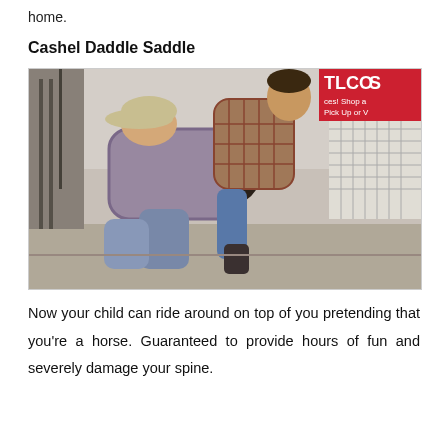home.
Cashel Daddle Saddle
[Figure (photo): A man on all fours (kneeling and bending forward like a horse) with a child sitting on his back using what appears to be a saddle strapped to the man's back. They are in what looks like a store or trade show environment with a red banner and wire shelving visible in the background.]
Now your child can ride around on top of you pretending that you're a horse. Guaranteed to provide hours of fun and severely damage your spine.